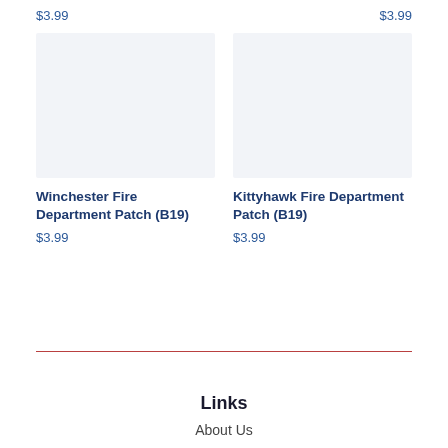$3.99
$3.99
[Figure (photo): Product image placeholder for Winchester Fire Department Patch (B19) — light gray/blue rectangle]
Winchester Fire Department Patch (B19)
$3.99
[Figure (photo): Product image placeholder for Kittyhawk Fire Department Patch (B19) — light gray/blue rectangle]
Kittyhawk Fire Department Patch (B19)
$3.99
Links
About Us